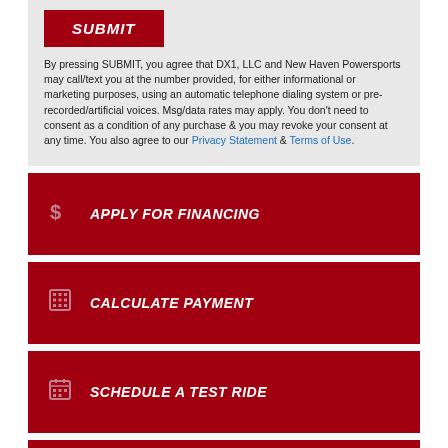SUBMIT
By pressing SUBMIT, you agree that DX1, LLC and New Haven Powersports may call/text you at the number provided, for either informational or marketing purposes, using an automatic telephone dialing system or pre-recorded/artificial voices. Msg/data rates may apply. You don't need to consent as a condition of any purchase & you may revoke your consent at any time. You also agree to our Privacy Statement & Terms of Use.
APPLY FOR FINANCING
CALCULATE PAYMENT
SCHEDULE A TEST RIDE
COMPARE MODELS
INSURANCE QUOTE